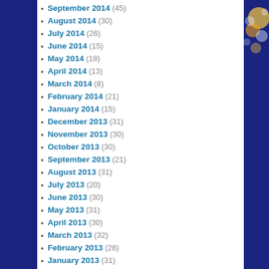September 2014 (45)
August 2014 (30)
July 2014 (26)
June 2014 (15)
May 2014 (18)
April 2014 (13)
March 2014 (8)
February 2014 (21)
January 2014 (15)
December 2013 (31)
November 2013 (30)
October 2013 (30)
September 2013 (21)
August 2013 (31)
July 2013 (20)
June 2013 (30)
May 2013 (31)
April 2013 (30)
March 2013 (32)
February 2013 (28)
January 2013 (31)